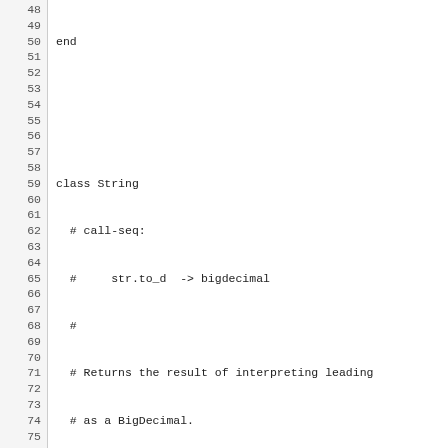Source code listing lines 48-77, showing Ruby class String and BigDecimal definitions with to_d method implementation.